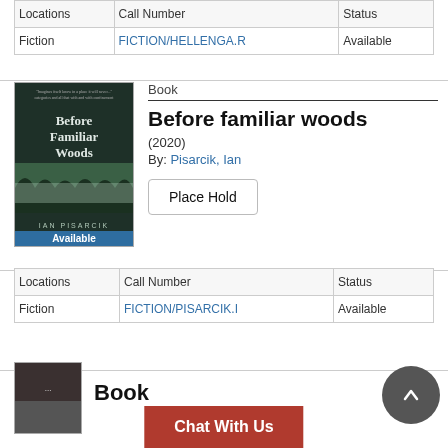| Locations | Call Number | Status |
| --- | --- | --- |
| Fiction | FICTION/HELLENGA.R | Available |
[Figure (photo): Book cover of 'Before Familiar Woods' by Ian Pisarcik, showing a dark forest with fog, with 'Available' label at bottom]
Book
Before familiar woods
(2020)
By: Pisarcik, Ian
Place Hold
| Locations | Call Number | Status |
| --- | --- | --- |
| Fiction | FICTION/PISARCIK.I | Available |
Chat With Us
Book